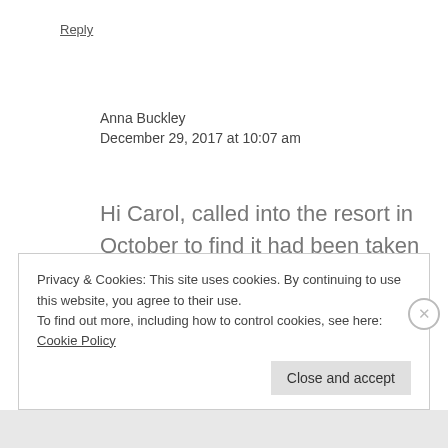Reply
Anna Buckley
December 29, 2017 at 10:07 am
Hi Carol, called into the resort in October to find it had been taken over by squatters and in a very sad state of disrepair. Paradise lost? Cheers Anna x
Privacy & Cookies: This site uses cookies. By continuing to use this website, you agree to their use.
To find out more, including how to control cookies, see here: Cookie Policy
Close and accept